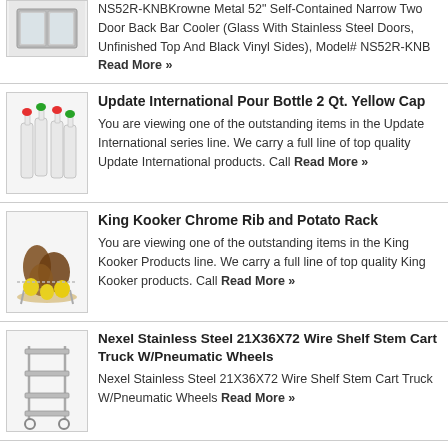[Figure (photo): Krowne Metal back bar cooler appliance image]
NS52R-KNBKrowne Metal 52" Self-Contained Narrow Two Door Back Bar Cooler (Glass With Stainless Steel Doors, Unfinished Top And Black Vinyl Sides), Model# NS52R-KNB Read More »
[Figure (photo): Update International pour bottles with colored caps]
Update International Pour Bottle 2 Qt. Yellow Cap
You are viewing one of the outstanding items in the Update International series line. We carry a full line of top quality Update International products. Call Read More »
[Figure (photo): King Kooker chrome rib and potato rack with food items]
King Kooker Chrome Rib and Potato Rack
You are viewing one of the outstanding items in the King Kooker Products line. We carry a full line of top quality King Kooker products. Call Read More »
[Figure (photo): Nexel stainless steel wire shelf stem cart truck with pneumatic wheels]
Nexel Stainless Steel 21X36X72 Wire Shelf Stem Cart Truck W/Pneumatic Wheels
Nexel Stainless Steel 21X36X72 Wire Shelf Stem Cart Truck W/Pneumatic Wheels Read More »
[Figure (photo): John Boos Bb Island Top product image]
John Boos Bb Island Top 36X32X2-1/4